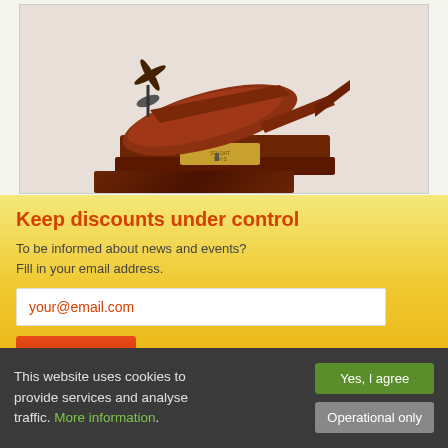[Figure (photo): Close-up photo of a wooden model airplane or bird on a dark wood base with a small decorative plaque]
Keep discounts under control
To be informed about news and events?
Fill in your email address.
your@email.com
Send
© 2020 Soly-toys.com  |  All rights reserved
This website uses cookies to provide services and analyse traffic. More information.
Yes, I agree
Operational only